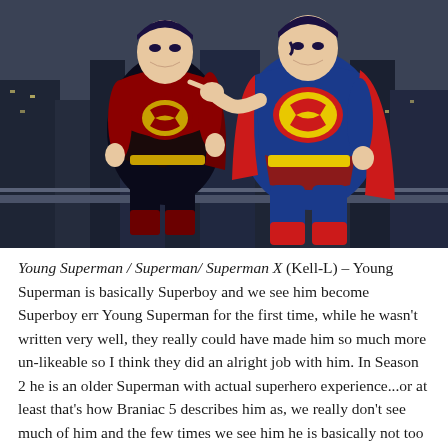[Figure (illustration): Animated illustration of two Superman-like characters in superhero costumes. On the left is a younger Superman in a dark black and red suit with a yellow S-shield and gold belt. On the right is the classic Superman in blue and red suit with a yellow S-shield, pointing at the other character. They are standing in front of a dark cityscape background.]
Young Superman / Superman/ Superman X (Kell-L) – Young Superman is basically Superboy and we see him become Superboy err Young Superman for the first time, while he wasn't written very well, they really could have made him so much more un-likeable so I think they did an alright job with him. In Season 2 he is an older Superman with actual superhero experience...or at least that's how Braniac 5 describes him as, we really don't see much of him and the few times we see him he is basically not too different from